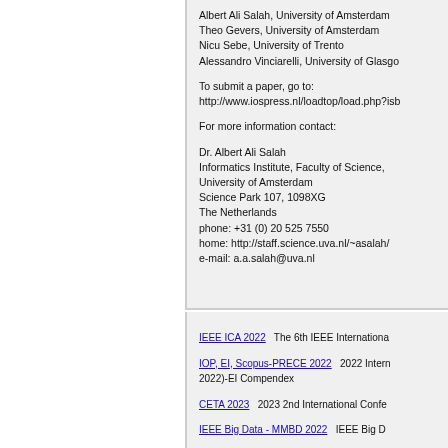Albert Ali Salah, University of Amsterdam
Theo Gevers, University of Amsterdam
Nicu Sebe, University of Trento
Alessandro Vinciarelli, University of Glasgow
To submit a paper, go to:
http://www.iospress.nl/loadtop/load.php?isbn
For more information contact:
Dr. Albert Ali Salah
Informatics Institute, Faculty of Science,
University of Amsterdam
Science Park 107, 1098XG
The Netherlands
phone: +31 (0) 20 525 7550
home: http://staff.science.uva.nl/~asalah/
e-mail: a.a.salah@uva.nl
IEEE ICA 2022   The 6th IEEE Internationa...
IOP, EI, Scopus-PRECE 2022   2022 Inter... 2022)-EI Compendex
CETA 2023   2023 2nd International Confe...
IEEE Big Data - MMBD 2022   IEEE Big D...